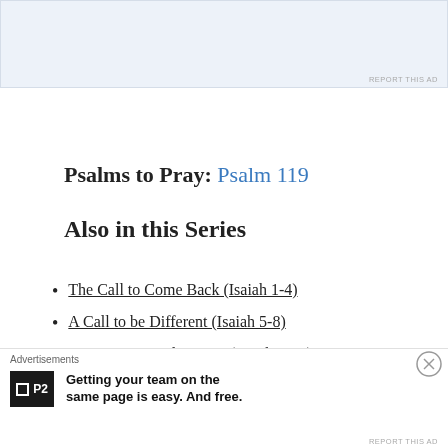[Figure (other): Advertisement banner at top of page, light blue/grey background]
REPORT THIS AD
Psalms to Pray: Psalm 119
Also in this Series
The Call to Come Back (Isaiah 1-4)
A Call to be Different (Isaiah 5-8)
No Longer Need to Wait (Isaiah 9-10)
O Praise Him (Isaiah 11-12)
He Keeps His Promises (Isaiah 13-16)
Advertisements
[Figure (other): P2 advertisement: Getting your team on the same page is easy. And free.]